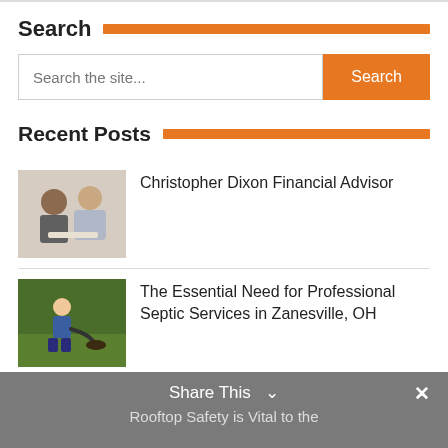Search
Search the site...
Recent Posts
Christopher Dixon Financial Advisor
The Essential Need for Professional Septic Services in Zanesville, OH
3 Potential Signs You're Living With Termites in Virginia Beach, VA
Locating the Highest Rated Kindergarten in CA is Painless and Cheap
Share This  ✓  × Rooftop Safety is Vital to the